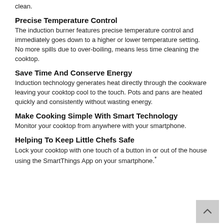clean.
Precise Temperature Control
The induction burner features precise temperature control and immediately goes down to a higher or lower temperature setting. No more spills due to over-boiling, means less time cleaning the cooktop.
Save Time And Conserve Energy
Induction technology generates heat directly through the cookware leaving your cooktop cool to the touch. Pots and pans are heated quickly and consistently without wasting energy.
Make Cooking Simple With Smart Technology
Monitor your cooktop from anywhere with your smartphone.
Helping To Keep Little Chefs Safe
Lock your cooktop with one touch of a button in or out of the house using the SmartThings App on your smartphone.*